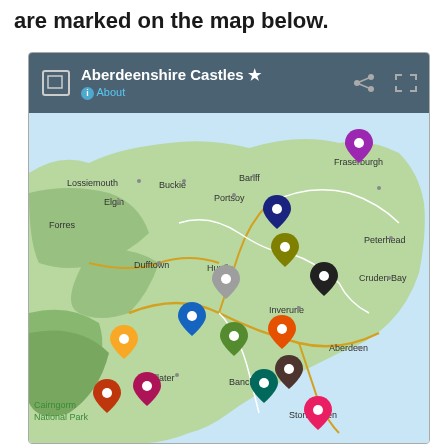are marked on the map below.
[Figure (map): A Google Maps screenshot titled 'Aberdeenshire Castles' showing a map of Aberdeenshire, Scotland, with multiple colored location pins marking castle locations. Towns visible include Lossiemouth, Elgin, Forres, Buckie, Banff, Portsoy, Fraserburgh, Peterhead, Cruden Bay, Dufftown, Huntly, Inverurie, Aberdeen, Ballater, Banchory, Stonehaven, and Cairngorm National Park. Pins are in various colors: purple (Fraserburgh area), dark blue, olive/dark yellow, grey, black, blue, yellow, orange, dark olive/green, dark brown, teal, magenta/pink, orange-red, and hot pink.]